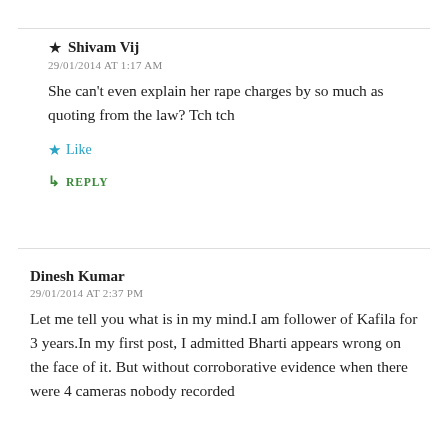★ Shivam Vij
29/01/2014 AT 1:17 AM
She can't even explain her rape charges by so much as quoting from the law? Tch tch
[Like] [REPLY]
Dinesh Kumar
29/01/2014 AT 2:37 PM
Let me tell you what is in my mind.I am follower of Kafila for 3 years.In my first post, I admitted Bharti appears wrong on the face of it. But without corroborative evidence when there were 4 cameras nobody recorded